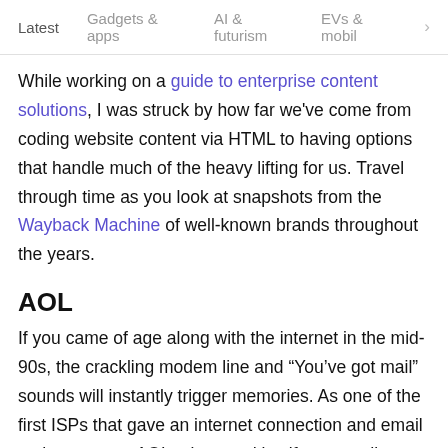Latest   Gadgets & apps   AI & futurism   EVs & mobil
While working on a guide to enterprise content solutions, I was struck by how far we've come from coding website content via HTML to having options that handle much of the heavy lifting for us. Travel through time as you look at snapshots from the Wayback Machine of well-known brands throughout the years.
AOL
If you came of age along with the internet in the mid-90s, the crackling modem line and “You’ve got mail” sounds will instantly trigger memories. As one of the first ISPs that gave an internet connection and email to the masses, AOL reinvented itself as a media company with the advent of DSL and cable...